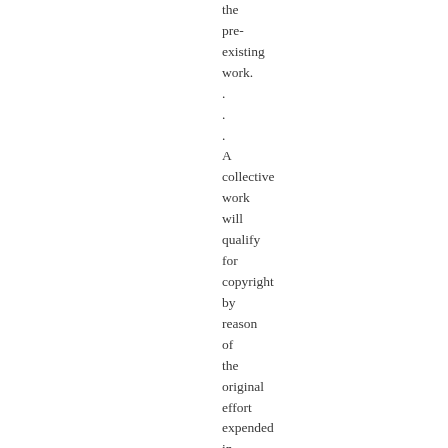the pre-existing work. . . . A collective work will qualify for copyright by reason of the original effort expended in the process of compilation, even if no new matter is added.